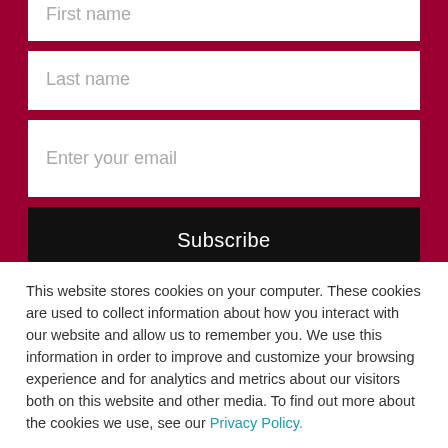First name
Last name
Enter your email
Subscribe
This website stores cookies on your computer. These cookies are used to collect information about how you interact with our website and allow us to remember you. We use this information in order to improve and customize your browsing experience and for analytics and metrics about our visitors both on this website and other media. To find out more about the cookies we use, see our Privacy Policy.
Accept